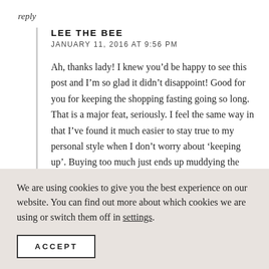reply
LEE THE BEE
JANUARY 11, 2016 AT 9:56 PM
Ah, thanks lady! I knew you’d be happy to see this post and I’m so glad it didn’t disappoint! Good for you for keeping the shopping fasting going so long. That is a major feat, seriously. I feel the same way in that I’ve found it much easier to stay true to my personal style when I don’t worry about ‘keeping up’. Buying too much just ends up muddying the waters, right? Thanks so much Jodie xo
We are using cookies to give you the best experience on our website. You can find out more about which cookies we are using or switch them off in settings.
ACCEPT